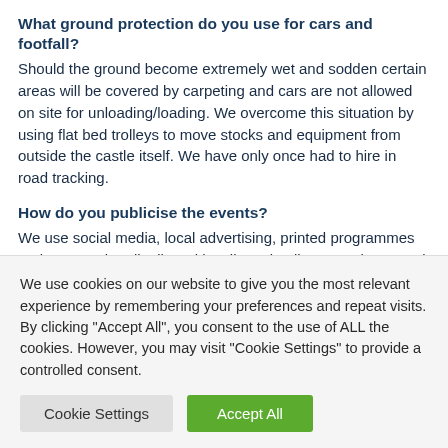What ground protection do you use for cars and footfall?
Should the ground become extremely wet and sodden certain areas will be covered by carpeting and cars are not allowed on site for unloading/loading. We overcome this situation by using flat bed trolleys to move stocks and equipment from outside the castle itself. We have only once had to hire in road tracking.
How do you publicise the events?
We use social media, local advertising, printed programmes and a magazine distributed locally and online. We also attend the BBC Good Food shows twice a year, where there is a dedicated Ludlow Food Festival Producers area. We're also lucky to have
We use cookies on our website to give you the most relevant experience by remembering your preferences and repeat visits. By clicking "Accept All", you consent to the use of ALL the cookies. However, you may visit "Cookie Settings" to provide a controlled consent.